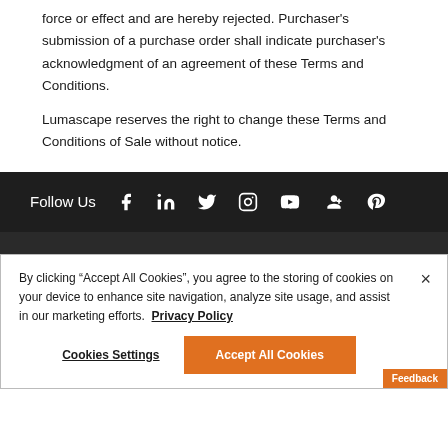force or effect and are hereby rejected. Purchaser's submission of a purchase order shall indicate purchaser's acknowledgment of an agreement of these Terms and Conditions.
Lumascape reserves the right to change these Terms and Conditions of Sale without notice.
[Figure (other): Footer bar with 'Follow Us' label and social media icons: Facebook, LinkedIn, Twitter, Instagram, YouTube, Google+, Pinterest]
By clicking "Accept All Cookies", you agree to the storing of cookies on your device to enhance site navigation, analyze site usage, and assist in our marketing efforts. Privacy Policy
Cookies Settings
Accept All Cookies